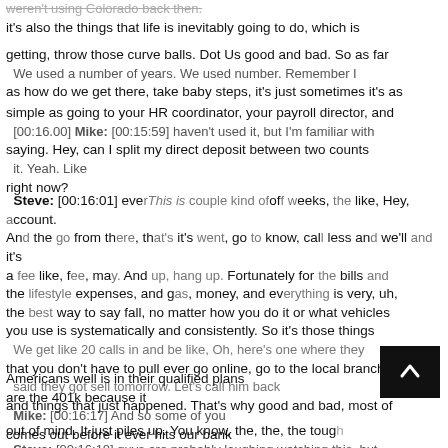weren't using Colorado back then. it's also the things that life is inevitably going to do, which is
getting, throw those curve balls. Dot Us good and bad. So as far
We used a number of years. We used number. Remember I
as how do we get there, take baby steps, it's just sometimes it's as
simple as going to your HR coordinator, your payroll director, and
[00:16:00] Mike: [00:15:59] haven't used it, but I'm familiar with
saying. Hey, can I split my direct deposit between two counts
it. Yeah. Like
right now?
Steve: [00:16:01] every This is couple kind of of weeks, the like, Hey, account.
And the go from there, that's it's went, go to know, call less and we'll and it's
a fee like, fee, may. And up, hang up. Fortunately for the bills and
the lifestyle expenses, and gas, money, and everything is very, uh,
the best way to say fall, no matter how you do it or what vehicles
you use is systematically and consistently. So it's those things
We get like 20 calls in and be like, Oh, here's one where they
that you don't have to pull ever go online, go to the local branch
said they got sell tomorrow. Let's call him back
and things that just happened. That's why good and bad, most of
Americans well is in their qualified plans are the 401k because it
Mike: [00:16:17] And so some of you
comes out before it ever hits our bank account. It's out of
out of mind. It just piles up. You know, the, the, the toug
Steve: [00:16:18] guys are probably laughing watching this, but